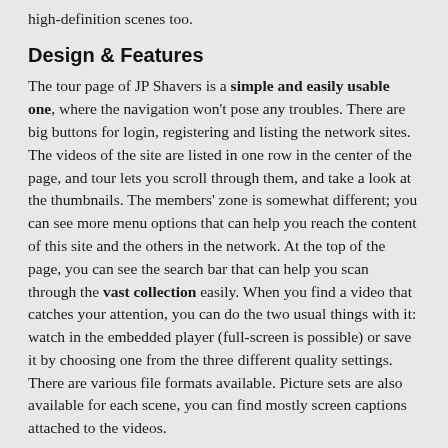high-definition scenes too.
Design & Features
The tour page of JP Shavers is a simple and easily usable one, where the navigation won't pose any troubles. There are big buttons for login, registering and listing the network sites. The videos of the site are listed in one row in the center of the page, and tour lets you scroll through them, and take a look at the thumbnails. The members' zone is somewhat different; you can see more menu options that can help you reach the content of this site and the others in the network. At the top of the page, you can see the search bar that can help you scan through the vast collection easily. When you find a video that catches your attention, you can do the two usual things with it: watch in the embedded player (full-screen is possible) or save it by choosing one from the three different quality settings. There are various file formats available. Picture sets are also available for each scene, you can find mostly screen captions attached to the videos.